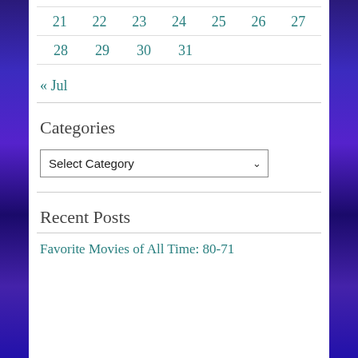| 21 | 22 | 23 | 24 | 25 | 26 | 27 |
| 28 | 29 | 30 | 31 |  |  |  |
« Jul
Categories
Select Category
Recent Posts
Favorite Movies of All Time: 80-71